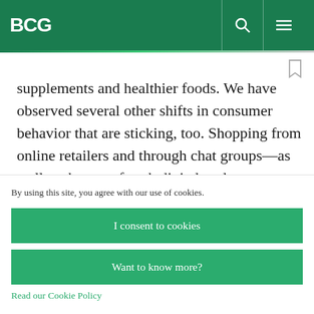BCG
supplements and healthier foods. We have observed several other shifts in consumer behavior that are sticking, too. Shopping from online retailers and through chat groups—as well as the use of such digital tools as e-wallets
By using this site, you agree with our use of cookies.
I consent to cookies
Want to know more?
Read our Cookie Policy